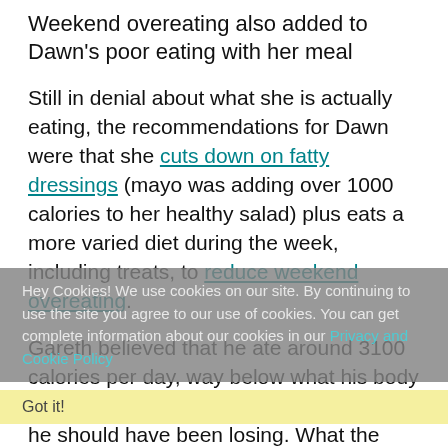Weekend overeating also added to Dawn's poor eating with her meal
Still in denial about what she is actually eating, the recommendations for Dawn were that she cuts down on fatty dressings (mayo was adding over 1000 calories to her healthy salad) plus eats a more varied diet during the week, including treats, to reduce weekend overeating.
Gareth believed that he ate around 3100 calories per day, way below what his body needs to maintain his weight, so in theory he should have been losing. What the team actually found was that he was eating over 5000 calories daily, mainly through takeaways and convenience foods grabbed throughout the day.  Basically, he was eating way too much.
Hey Cookies! We use cookies on our site. By continuing to use the site you agree to our use of cookies. You can get complete information about our cookies in our Privacy and Cookie Policy
Got it!